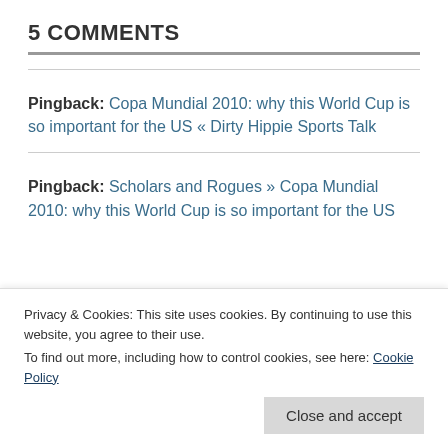5 COMMENTS
Pingback: Copa Mundial 2010: why this World Cup is so important for the US « Dirty Hippie Sports Talk
Pingback: Scholars and Rogues » Copa Mundial 2010: why this World Cup is so important for the US
Privacy & Cookies: This site uses cookies. By continuing to use this website, you agree to their use.
To find out more, including how to control cookies, see here: Cookie Policy